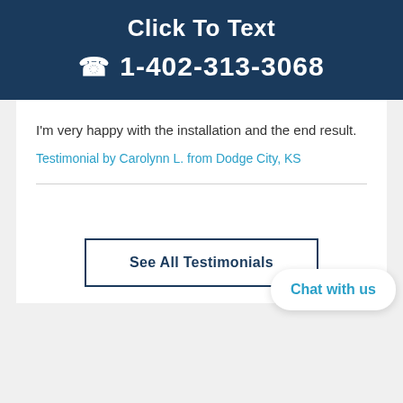Click To Text
☎ 1-402-313-3068
I'm very happy with the installation and the end result.
Testimonial by Carolynn L. from Dodge City, KS
See All Testimonials
Chat with us